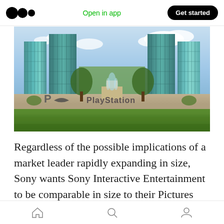Open in app  Get started
[Figure (photo): Exterior photo of Sony PlayStation headquarters building — two large glass tower buildings with teal/blue tinted glass, and a large PlayStation logo with a fountain in front, green lawn in foreground, partly cloudy sky]
Regardless of the possible implications of a market leader rapidly expanding in size, Sony wants Sony Interactive Entertainment to be comparable in size to their Pictures and Music divisions. To accomplish that, they have to spend